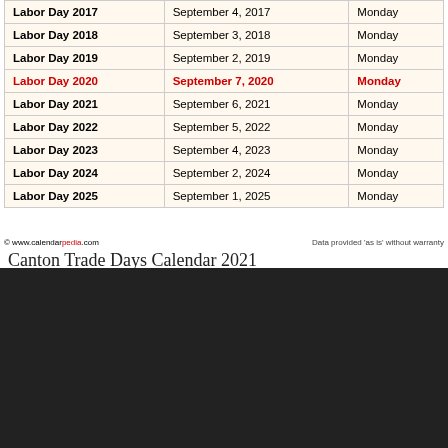| Holiday | Date | Day |
| --- | --- | --- |
| Labor Day 2017 | September 4, 2017 | Monday |
| Labor Day 2018 | September 3, 2018 | Monday |
| Labor Day 2019 | September 2, 2019 | Monday |
| Labor Day 2020 | September 7, 2020 | Monday |
| Labor Day 2021 | September 6, 2021 | Monday |
| Labor Day 2022 | September 5, 2022 | Monday |
| Labor Day 2023 | September 4, 2023 | Monday |
| Labor Day 2024 | September 2, 2024 | Monday |
| Labor Day 2025 | September 1, 2025 | Monday |
© www.calendarpedia.com    Data provided 'as is' without warranty
Canton Trade Days Calendar 2021
About The Author
Tewolde Fikru